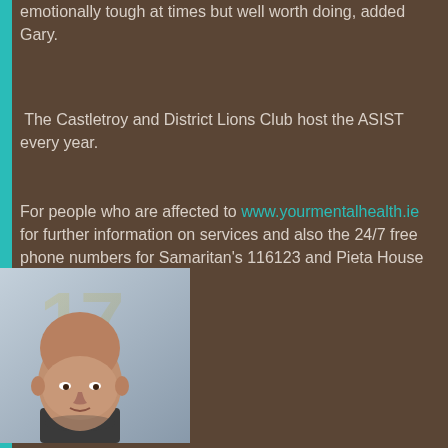emotionally tough at times but well worth doing, added Gary.
The Castletroy and District Lions Club host the ASIST every year.
For people who are affected to www.yourmentalhealth.ie for further information on services and also the 24/7 free phone numbers for Samaritan's 116123 and Pieta House on 1800 247 247
[Figure (photo): Portrait photo of a bald man, head and shoulders visible, against a light grey background]